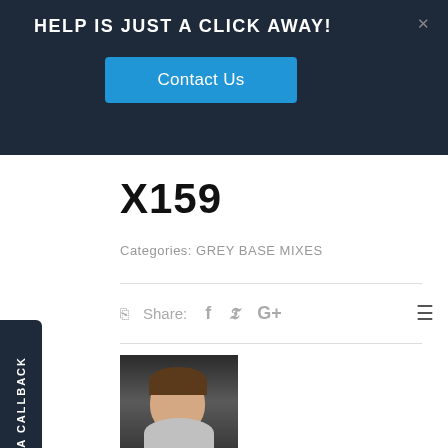HELP IS JUST A CLICK AWAY!
Contact Us
X159
Categories: GREY BASE MIXES
Share: f  G+
[Figure (photo): Admin profile photo showing a young man in a grey shirt in a restaurant setting]
ADMIN